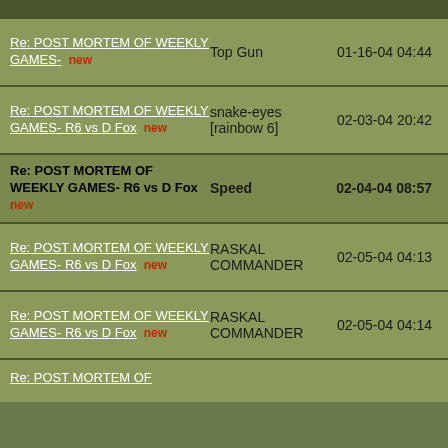Re: POST MORTEM OF WEEKLY GAMES-  new | Top Gun | 01-16-04 04:44
Re: POST MORTEM OF WEEKLY GAMES- R6 vs D Fox  new | snake-eyes [rainbow 6] | 02-03-04 20:42
Re: POST MORTEM OF WEEKLY GAMES- R6 vs D Fox  new | Speed | 02-04-04 08:57
Re: POST MORTEM OF WEEKLY GAMES- R6 vs D Fox  new | RASKAL COMMANDER | 02-05-04 04:13
Re: POST MORTEM OF WEEKLY GAMES- R6 vs D Fox  new | RASKAL COMMANDER | 02-05-04 04:14
Re: POST MORTEM OF...